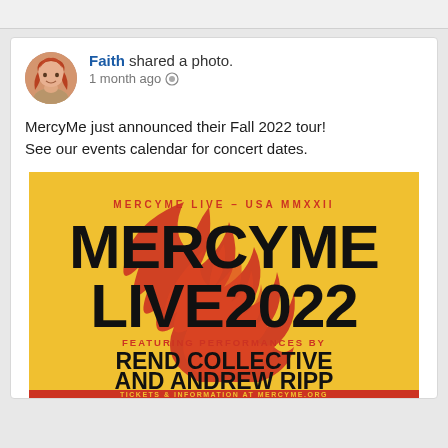Faith shared a photo.
1 month ago
MercyMe just announced their Fall 2022 tour! See our events calendar for concert dates.
[Figure (illustration): MercyMe Live 2022 concert poster on yellow background with flame graphic. Text reads: MERCYME LIVE – USA MMXXII / MERCYME LIVE2022 / FEATURING PERFORMANCES BY / REND COLLECTIVE AND ANDREW RIPP / TICKETS & INFORMATION AT MERCYME.ORG]